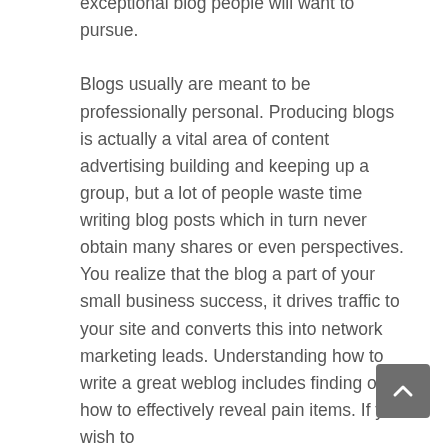exceptional blog people will want to pursue.

Blogs usually are meant to be professionally personal. Producing blogs is actually a vital area of content advertising building and keeping up a group, but a lot of people waste time writing blog posts which in turn never obtain many shares or even perspectives. You realize that the blog a part of your small business success, it drives traffic to your site and converts this into network marketing leads. Understanding how to write a great weblog includes finding out how to effectively reveal pain items. If you wish to